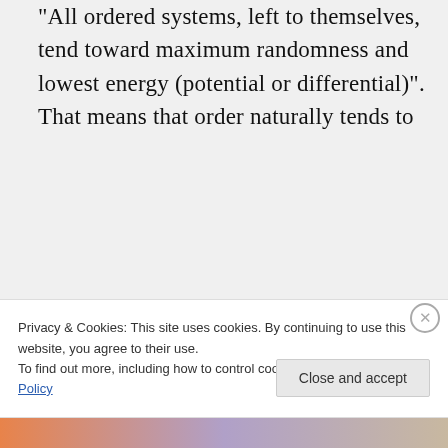“All ordered systems, left to themselves, tend toward maximum randomness and lowest energy (potential or differential)”. That means that order naturally tends to
Privacy & Cookies: This site uses cookies. By continuing to use this website, you agree to their use. To find out more, including how to control cookies, see here: Cookie Policy